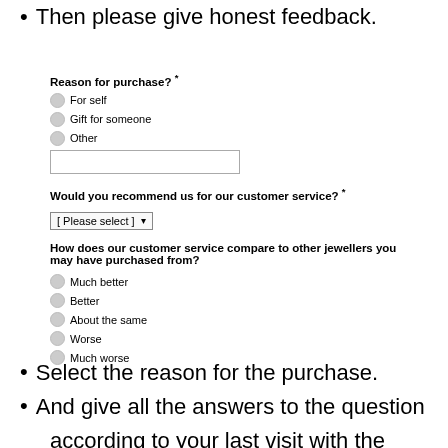Then please give honest feedback.
Reason for purchase? *
For self
Gift for someone
Other
[text input field]
Would you recommend us for our customer service? *
[ Please select ]
How does our customer service compare to other jewellers you may have purchased from?
Much better
Better
About the same
Worse
Much worse
Select the reason for the purchase.
And give all the answers to the question
according to your last visit with the F.Hinds